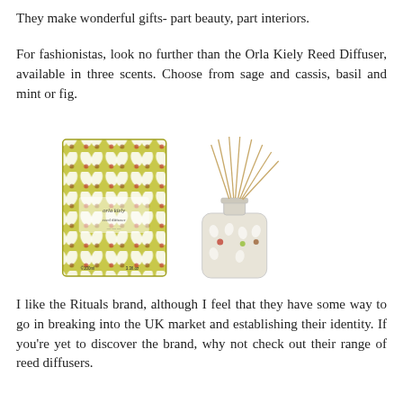They make wonderful gifts- part beauty, part interiors.
For fashionistas, look no further than the Orla Kiely Reed Diffuser, available in three scents. Choose from sage and cassis, basil and mint or fig.
[Figure (photo): Product photo of an Orla Kiely Reed Diffuser showing the patterned box (yellow-green with leaf/dot pattern) and the frosted glass diffuser bottle with reed sticks inserted.]
I like the Rituals brand, although I feel that they have some way to go in breaking into the UK market and establishing their identity. If you're yet to discover the brand, why not check out their range of reed diffusers.